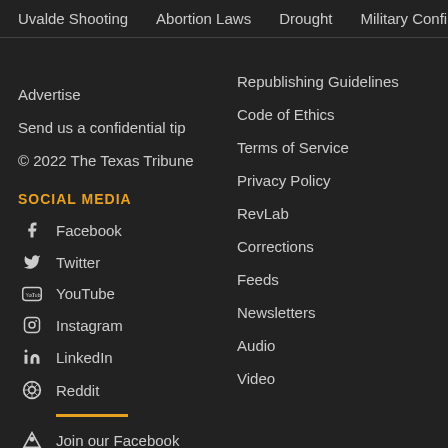Uvalde Shooting | Abortion Laws | Drought | Military Confinement
Advertise
Send us a confidential tip
© 2022 The Texas Tribune
SOCIAL MEDIA
Facebook
Twitter
YouTube
Instagram
LinkedIn
Reddit
Join our Facebook
Republishing Guidelines
Code of Ethics
Terms of Service
Privacy Policy
RevLab
Corrections
Feeds
Newsletters
Audio
Video